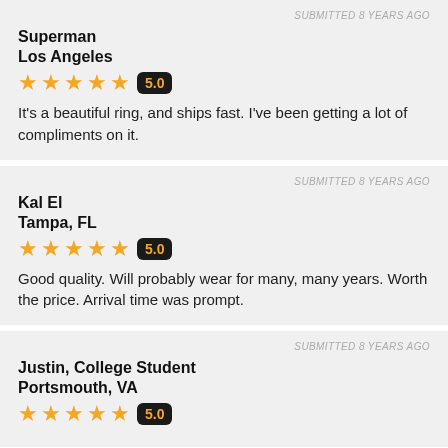SUBMITTED 8 YEARS AGO
Superman
Los Angeles
5.0
It's a beautiful ring, and ships fast. I've been getting a lot of compliments on it.
SUBMITTED 8 YEARS AGO
Kal El
Tampa, FL
5.0
Good quality. Will probably wear for many, many years. Worth the price. Arrival time was prompt.
SUBMITTED 8 YEARS AGO
Justin, College Student
Portsmouth, VA
5.0